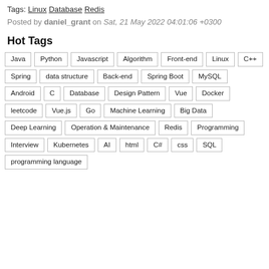Tags: Linux Database Redis
Posted by daniel_grant on Sat, 21 May 2022 04:01:06 +0300
Hot Tags
Java
Python
Javascript
Algorithm
Front-end
Linux
C++
Spring
data structure
Back-end
Spring Boot
MySQL
Android
C
Database
Design Pattern
Vue
Docker
leetcode
Vue.js
Go
Machine Learning
Big Data
Deep Learning
Operation & Maintenance
Redis
Programming
Interview
Kubernetes
AI
html
C#
css
SQL
programming language